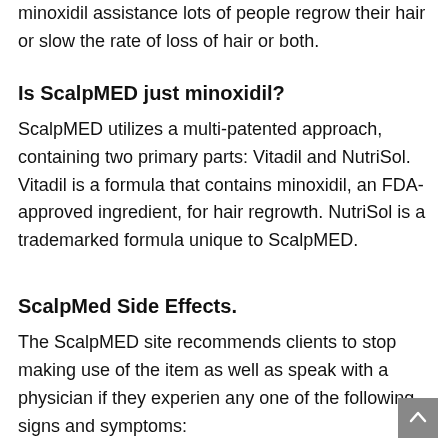minoxidil assistance lots of people regrow their hair or slow the rate of loss of hair or both.
Is ScalpMED just minoxidil?
ScalpMED utilizes a multi-patented approach, containing two primary parts: Vitadil and NutriSol. Vitadil is a formula that contains minoxidil, an FDA-approved ingredient, for hair regrowth. NutriSol is a trademarked formula unique to ScalpMED.
ScalpMed Side Effects.
The ScalpMED site recommends clients to stop making use of the item as well as speak with a physician if they experien any one of the following signs and symptoms: